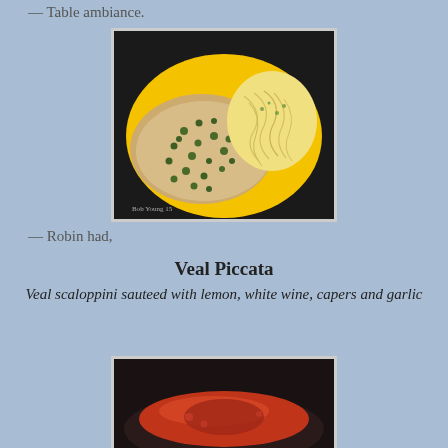— Table ambiance.
[Figure (photo): Photo of Veal Piccata on a bright yellow plate: thin veal scaloppini covered with capers and cream sauce on the left, and a mound of thin spaghetti with herbs on the right. Watermark reads 'Bob Young 15'.]
— Robin had,
Veal Piccata
Veal scaloppini sauteed with lemon, white wine, capers and garlic
[Figure (photo): Partial photo at bottom showing what appears to be a dish with red tomato sauce in a dark pan.]